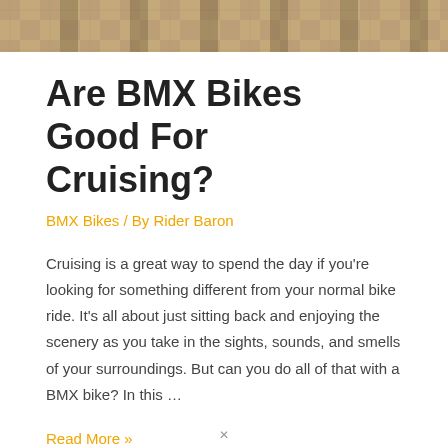[Figure (photo): Top banner image showing a textured sandy/gravelly surface with shadows, possibly a BMX track or outdoor ground.]
Are BMX Bikes Good For Cruising?
BMX Bikes / By Rider Baron
Cruising is a great way to spend the day if you’re looking for something different from your normal bike ride. It’s all about just sitting back and enjoying the scenery as you take in the sights, sounds, and smells of your surroundings. But can you do all of that with a BMX bike? In this …
Read More »